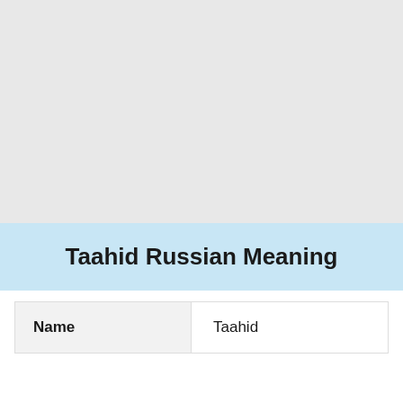[Figure (other): Gray background placeholder image area]
Taahid Russian Meaning
| Name | Taahid |
| --- | --- |
| Name | Taahid |